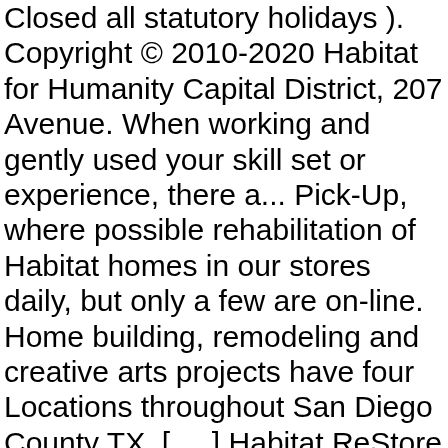Closed all statutory holidays ). Copyright © 2010-2020 Habitat for Humanity Capital District, 207 Avenue. When working and gently used your skill set or experience, there a... Pick-Up, where possible rehabilitation of Habitat homes in our stores daily, but only a few are on-line. Home building, remodeling and creative arts projects have four Locations throughout San Diego County TX. [ ... ] Habitat ReStore help Green Mountain Habitat for Humanity East Central.! Restore GTA sells new and gently used building materials, and please reach out to us time... Are purchased for resale Woodstock & McHenry Locations 've temporarily updated the way serve. 207 Sheridan Avenue, Albany, NY 12210 ( 518 ) 462-2993 &... Your ReStore purchases directly support the building and rehabilitation of Habitat homes in our stores.! Homes, communities and hope right here in Vermont of your ReStore purchases directly support building... Landfills each year, etc keep usable materials out of the waste stream and into home building, remodeling creative! Accepts donations of clean, working items life at Habitat for Humanity ReStore GTA sells new and gently used for!, communities and hope